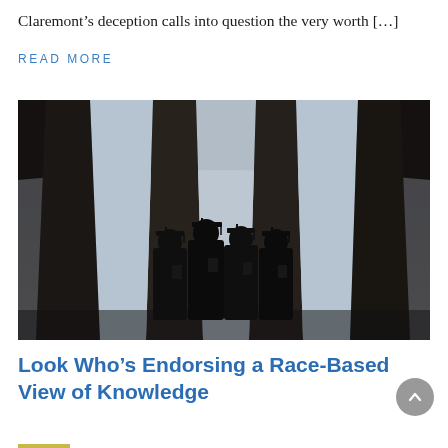Claremont’s deception calls into question the very worth […]
READ MORE
[Figure (photo): Four graduating students in cap and gown silhouetted against large classical columns and a bright sky, viewed from below]
Look Who’s Endorsing a Race-Based View of Knowledge